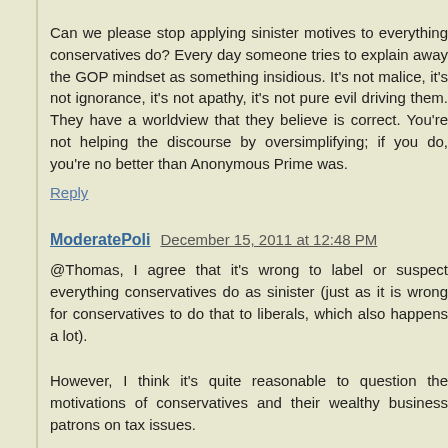Can we please stop applying sinister motives to everything conservatives do? Every day someone tries to explain away the GOP mindset as something insidious. It's not malice, it's not ignorance, it's not apathy, it's not pure evil driving them. They have a worldview that they believe is correct. You're not helping the discourse by oversimplifying; if you do, you're no better than Anonymous Prime was.
Reply
ModeratePoli  December 15, 2011 at 12:48 PM
@Thomas, I agree that it's wrong to label or suspect everything conservatives do as sinister (just as it is wrong for conservatives to do that to liberals, which also happens a lot).
However, I think it's quite reasonable to question the motivations of conservatives and their wealthy business patrons on tax issues.
In my case, I'm a very open-minded moderate (for example I realized last year that flat taxes are preferable).
But I look at our deficit/debt and our tax structure, and who is struggling in this country, and I have to say that tax cuts for the wealthy don't m